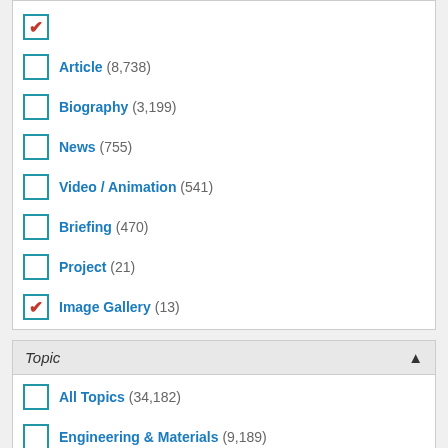Article (8,738)
Biography (3,199)
News (755)
Video / Animation (541)
Briefing (470)
Project (21)
Image Gallery (13) [checked]
Topic
All Topics (34,182)
Engineering & Materials (9,189)
Physics (5,791)
Biology & Biomedicine (5,057) [checked]
Earth Science (3,698)
Chemistry (2,848)
Zoology (2,718) [checked]
Health Sciences (2,372)
Astronomy & Space Science (2,020) [checked]
Botany (1,773)